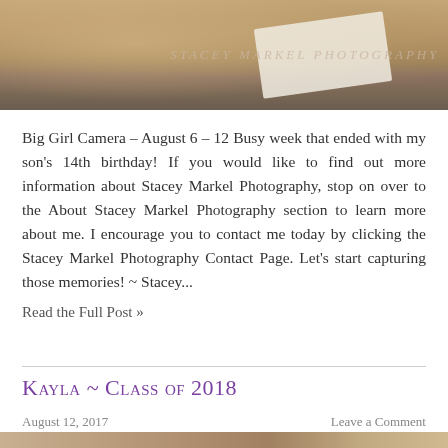[Figure (photo): Header photo of a photography studio scene with a notebook/paper and marble-like surface, with watermark text 'STACEY MARKEL PHOTOGRAPHY']
Big Girl Camera – August 6 – 12 Busy week that ended with my son's 14th birthday! If you would like to find out more information about Stacey Markel Photography, stop on over to the About Stacey Markel Photography section to learn more about me. I encourage you to contact me today by clicking the Stacey Markel Photography Contact Page. Let's start capturing those memories! ~ Stacey...
Read the Full Post »
Kayla ~ Class of 2018
August 12, 2017
Leave a Comment
[Figure (photo): Partial bottom photo visible at the very bottom of the page]